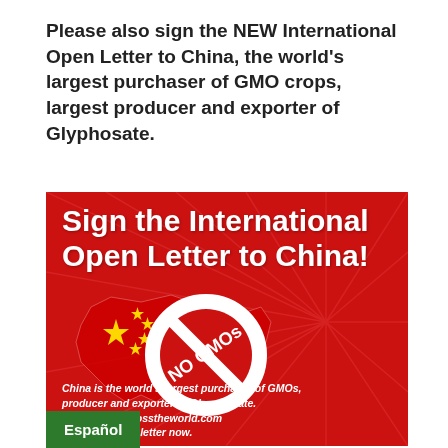Please also sign the NEW International Open Letter to China, the world's largest purchaser of GMO crops, largest producer and exporter of Glyphosate.
[Figure (infographic): Red promotional poster reading 'Sign the International Open Letter to China!' with a 'NO GMOs' prohibition symbol over a map of China with yellow stars. Bottom text: 'China is the world's largest purchaser of GMOs, producer and exporter of Glypohosate. www.momsacrosstheworld.com Sign and share letter now.' A green button labeled 'Español' appears at bottom left.]